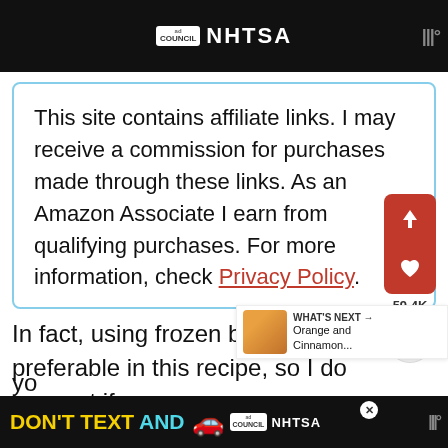[Figure (screenshot): Top banner with Ad Council and NHTSA logos on black background]
This site contains affiliate links. I may receive a commission for purchases made through these links. As an Amazon Associate I earn from qualifying purchases. For more information, check Privacy Policy.
[Figure (screenshot): Social share panel with up arrow button, heart/like button, 59.4K count, and share button]
[Figure (screenshot): What's Next panel showing Orange and Cinnamon... thumbnail and text]
In fact, using frozen blueberries are preferable in this recipe, so I do suggest if yo... ue to
[Figure (screenshot): Bottom ad banner: DON'T TEXT AND [car emoji] Ad Council NHTSA with close button]